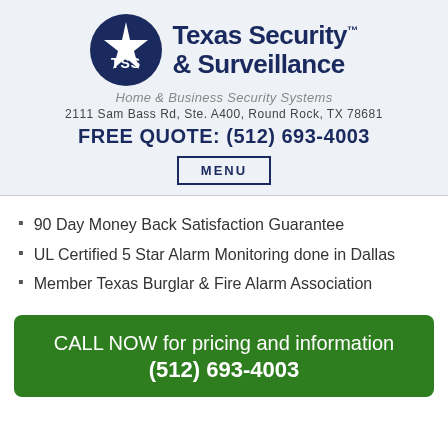[Figure (logo): Texas Security & Surveillance logo with TSS circular emblem and star]
Home & Business Security Systems
2111 Sam Bass Rd, Ste. A400, Round Rock, TX 78681
FREE QUOTE: (512) 693-4003
MENU
90 Day Money Back Satisfaction Guarantee
UL Certified 5 Star Alarm Monitoring done in Dallas
Member Texas Burglar & Fire Alarm Association
CALL NOW for pricing and information (512) 693-4003